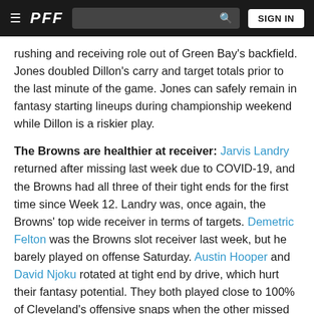≡ PFF [search bar] SIGN IN
rushing and receiving role out of Green Bay's backfield. Jones doubled Dillon's carry and target totals prior to the last minute of the game. Jones can safely remain in fantasy starting lineups during championship weekend while Dillon is a riskier play.
The Browns are healthier at receiver: Jarvis Landry returned after missing last week due to COVID-19, and the Browns had all three of their tight ends for the first time since Week 12. Landry was, once again, the Browns' top wide receiver in terms of targets. Demetric Felton was the Browns slot receiver last week, but he barely played on offense Saturday. Austin Hooper and David Njoku rotated at tight end by drive, which hurt their fantasy potential. They both played close to 100% of Cleveland's offensive snaps when the other missed time.